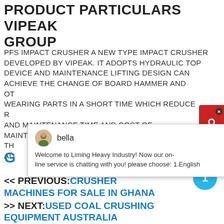PRODUCT PARTICULARS VIPEAK GROUP
PFS IMPACT CRUSHER A NEW TYPE IMPACT CRUSHER DEVELOPED BY VIPEAK. IT ADOPTS HYDRAULIC TOP DEVICE AND MAINTENANCE LIFTING DESIGN CAN ACHIEVE THE CHANGE OF BOARD HAMMER AND OTHER WEARING PARTS IN A SHORT TIME WHICH REDUCE REPAIR AND MAINTENANCE TIME AND COST OF MAINTENANCE. THE ADVANCE TECHNOLOGY ADOPTED...
[Figure (screenshot): Chat popup overlay from 'bella' at Liming Heavy Industry welcoming user and offering online chat service in English]
<< PREVIOUS:CRUSHER MACHINES FOR SALE IN GHANA >> NEXT:USED COAL CRUSHING EQUIPMENT AUSTRALIA